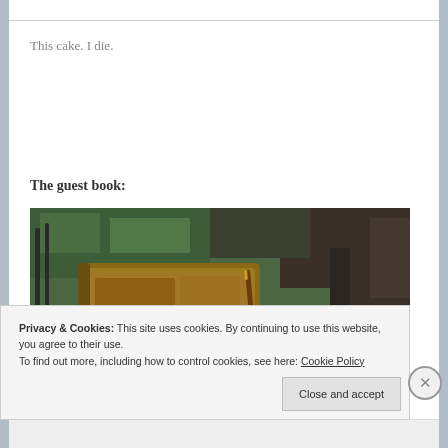This cake. I die.
The guest book:
[Figure (photo): An old worn leather journal/guest book resting on a metal chair or bench outdoors, with green foliage in the background and a pen beside it.]
Privacy & Cookies: This site uses cookies. By continuing to use this website, you agree to their use.
To find out more, including how to control cookies, see here: Cookie Policy
Close and accept